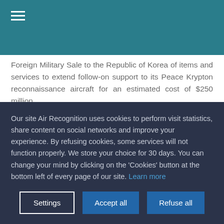Foreign Military Sale to the Republic of Korea of items and services to extend follow-on support to its Peace Krypton reconnaissance aircraft for an estimated cost of $250 million.
READ MORE ...
Our site Air Recognition uses cookies to perform visit statistics, share content on social networks and improve your experience. By refusing cookies, some services will not function properly. We store your choice for 30 days. You can change your mind by clicking on the 'Cookies' button at the bottom left of every page of our site. Learn more